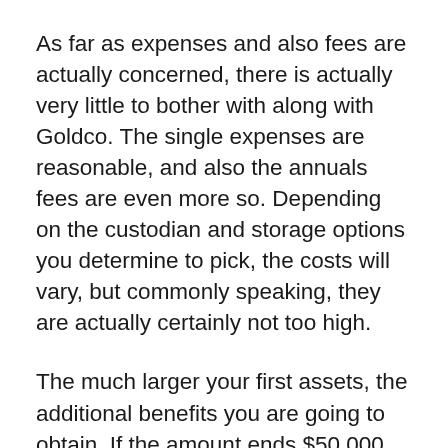As far as expenses and also fees are actually concerned, there is actually very little to bother with along with Goldco. The single expenses are reasonable, and also the annuals fees are even more so. Depending on the custodian and storage options you determine to pick, the costs will vary, but commonly speaking, they are actually certainly not too high.
The much larger your first assets, the additional benefits you are going to obtain. If the amount ends $50,000, you are going to not must spend charges for the 1st year, and you will be granted a 5% back in gold and silvers that you can include in your individual retirement account. This deal is actually